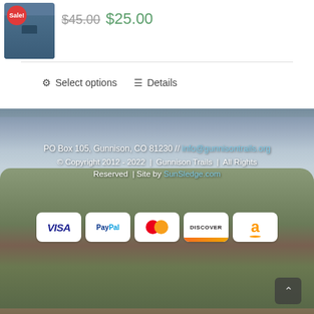[Figure (photo): Blue jacket with red Sale! badge]
$45.00  $25.00
⚙ Select options  ≡ Details
[Figure (photo): Landscape background with cloudy sky and rocky terrain — Gunnison Trails footer]
PO Box 105, Gunnison, CO 81230 // info@gunnisontrails.org
© Copyright 2012 - 2022  |  Gunnison Trails  |  All Rights Reserved  | Site by SunSledge.com
[Figure (logo): Payment icons: VISA, PayPal, Mastercard, Discover, Amazon]